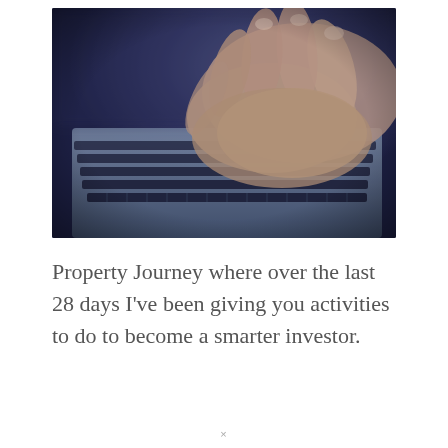[Figure (photo): Close-up photo of a hand typing on a laptop keyboard, with a blurred dark blue-purple background. The image has a cool, slightly desaturated tone.]
Property Journey where over the last 28 days I've been giving you activities to do to become a smarter investor.